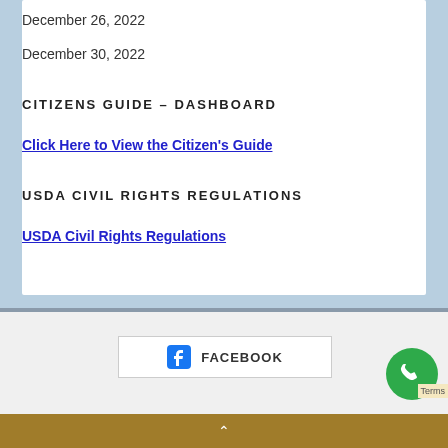December 26, 2022
December 30, 2022
CITIZENS GUIDE – DASHBOARD
Click Here to View the Citizen's Guide
USDA CIVIL RIGHTS REGULATIONS
USDA Civil Rights Regulations
[Figure (logo): Facebook logo button with text FACEBOOK]
[Figure (other): Green circular phone/call button]
Terms